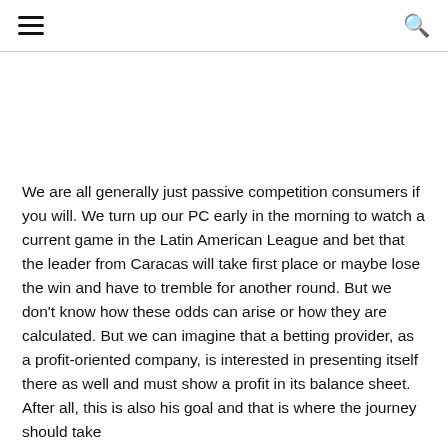[hamburger menu icon] [search icon]
We are all generally just passive competition consumers if you will. We turn up our PC early in the morning to watch a current game in the Latin American League and bet that the leader from Caracas will take first place or maybe lose the win and have to tremble for another round. But we don't know how these odds can arise or how they are calculated. But we can imagine that a betting provider, as a profit-oriented company, is interested in presenting itself there as well and must show a profit in its balance sheet. After all, this is also his goal and that is where the journey should take